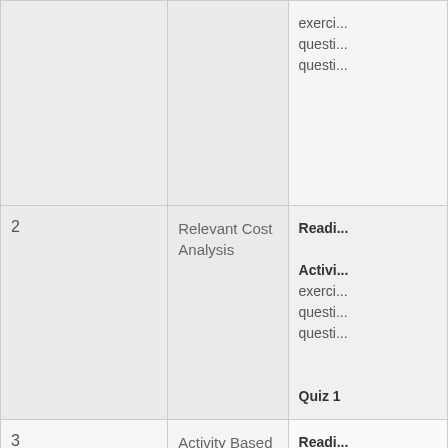| Week | Topic | Activities/Readings |
| --- | --- | --- |
|  |  | exercises
questions
questions |
| 2 | Relevant Cost Analysis | Reading

Activities
exercises
questions
questions

Quiz 1 |
| 3 | Activity Based Costing | Reading

Activities
and exercises
questions |
| 4 | Activity Based Costing | Reading

Activities |